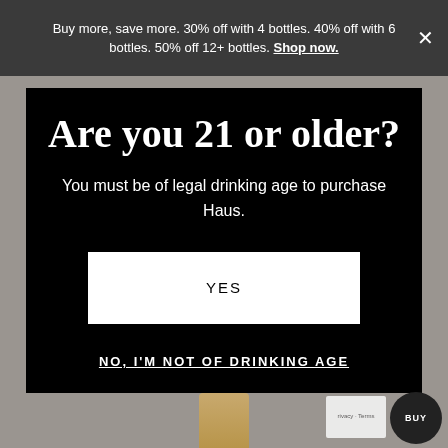Buy more, save more. 30% off with 4 bottles. 40% off with 6 bottles. 50% off 12+ bottles. Shop now.
Are you 21 or older?
You must be of legal drinking age to purchase Haus.
YES
NO, I'M NOT OF DRINKING AGE